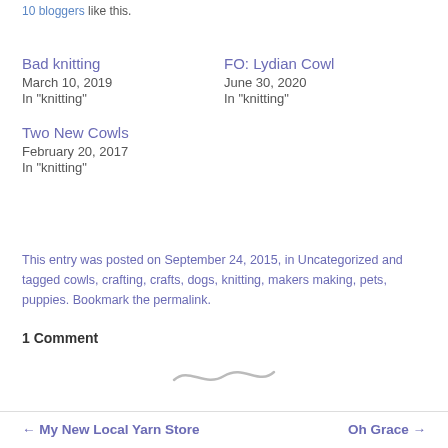10 bloggers like this.
Bad knitting
March 10, 2019
In "knitting"
FO: Lydian Cowl
June 30, 2020
In "knitting"
Two New Cowls
February 20, 2017
In "knitting"
This entry was posted on September 24, 2015, in Uncategorized and tagged cowls, crafting, crafts, dogs, knitting, makers making, pets, puppies. Bookmark the permalink.
1 Comment
[Figure (illustration): Decorative swirl/tilde divider graphic in light gray]
← My New Local Yarn Store
Oh Grace →